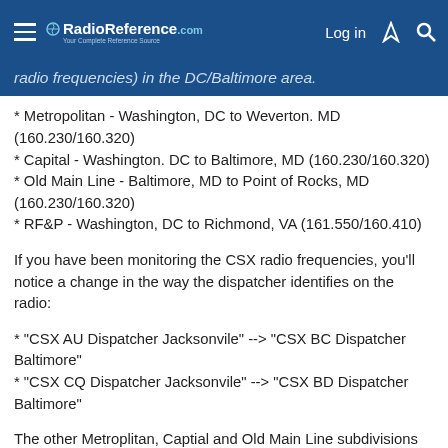RadioReference.com - Log in
radio frequencies) in the DC/Baltimore area.
* Metropolitan - Washington, DC to Weverton. MD (160.230/160.320)
* Capital - Washington. DC to Baltimore, MD (160.230/160.320)
* Old Main Line - Baltimore, MD to Point of Rocks, MD (160.230/160.320)
* RF&P - Washington, DC to Richmond, VA (161.550/160.410)
If you have been monitoring the CSX radio frequencies, you'll notice a change in the way the dispatcher identifies on the radio:
* "CSX AU Dispatcher Jacksonvile" --> "CSX BC Dispatcher Baltimore"
* "CSX CQ Dispatcher Jacksonvile" --> "CSX BD Dispatcher Baltimore"
The other Metroplitan, Captial and Old Main Line subdivisions are under the control of the BC (former AU) dispatcher. The RF&P subdivision is...